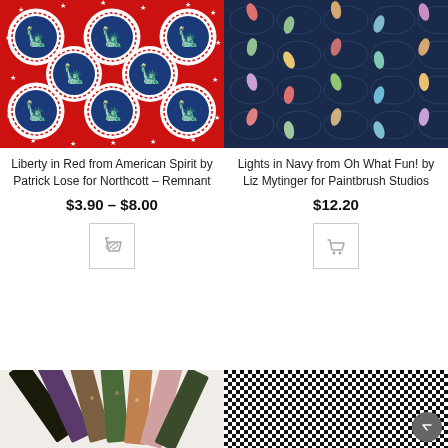[Figure (photo): Red fabric with repeating Statue of Liberty medallion pattern in blue and white circles with stars]
Liberty in Red from American Spirit by Patrick Lose for Northcott – Remnant
$3.90 – $8.00
[Figure (photo): Navy fabric with colorful leaf/teardrop shapes inside oval loops pattern]
Lights in Navy from Oh What Fun! by Liz Mytinger for Paintbrush Studios
$12.20
[Figure (photo): Fan arrangement of assorted Japanese-style fabric fat quarters in dark colors]
[Figure (photo): Black and white checkerboard pattern fabric]